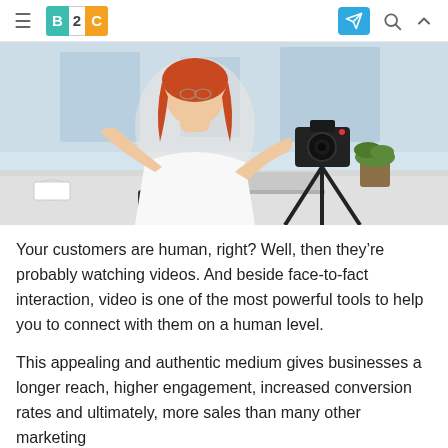B2C (logo) navigation bar with hamburger menu, Telegram button, search icon, and scroll-up icon
[Figure (photo): A red-haired woman in a white top sitting at a desk, gesturing with both hands toward a camera on a flexible tripod. A laptop, phone, and potted plant are visible on the desk. Office/studio setting with blurred background.]
Your customers are human, right? Well, then they’re probably watching videos. And beside face-to-fact interaction, video is one of the most powerful tools to help you to connect with them on a human level.
This appealing and authentic medium gives businesses a longer reach, higher engagement, increased conversion rates and ultimately, more sales than many other marketing